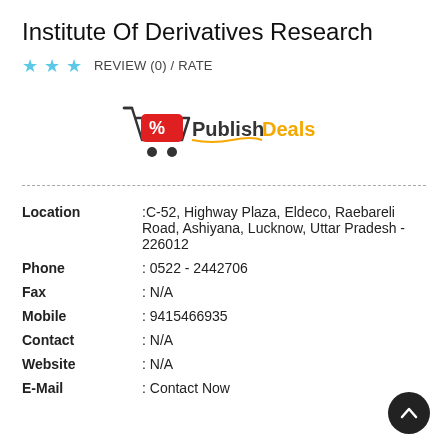Institute Of Derivatives Research
★ ★ ★   REVIEW (0) / RATE
[Figure (logo): Publish Deals logo with shopping cart icon showing a percentage tag]
| Location | :C-52, Highway Plaza, Eldeco, Raebareli Road, Ashiyana, Lucknow, Uttar Pradesh - 226012 |
| Phone | : 0522 - 2442706 |
| Fax | : N/A |
| Mobile | : 9415466935 |
| Contact | : N/A |
| Website | : N/A |
| E-Mail | : Contact Now |